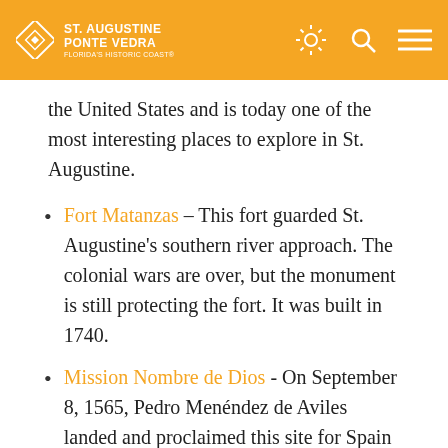ST. AUGUSTINE PONTE VEDRA FLORIDA'S HISTORIC COAST
the United States and is today one of the most interesting places to explore in St. Augustine.
Fort Matanzas – This fort guarded St. Augustine's southern river approach. The colonial wars are over, but the monument is still protecting the fort. It was built in 1740.
Mission Nombre de Dios - On September 8, 1565, Pedro Menéndez de Aviles landed and proclaimed this site for Spain and the church. On that date, Father Francisco López de Mendoza offered the first Holy Mass and became the first Catholic parish